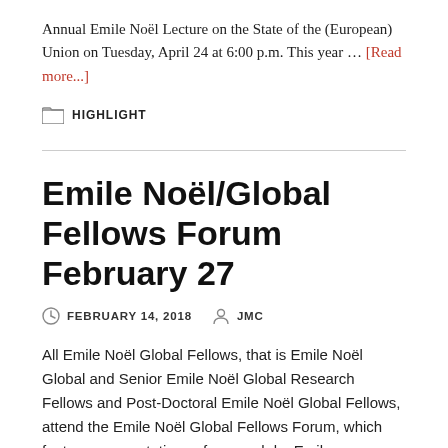Annual Emile Noël Lecture on the State of the (European) Union on Tuesday, April 24 at 6:00 p.m. This year … [Read more...]
HIGHLIGHT
Emile Noël/Global Fellows Forum February 27
FEBRUARY 14, 2018   JMC
All Emile Noël Global Fellows, that is Emile Noël Global and Senior Emile Noël Global Research Fellows and Post-Doctoral Emile Noël Global Fellows, attend the Emile Noël Global Fellows Forum, which features presentations of research by Emile Noël/Global Fellows